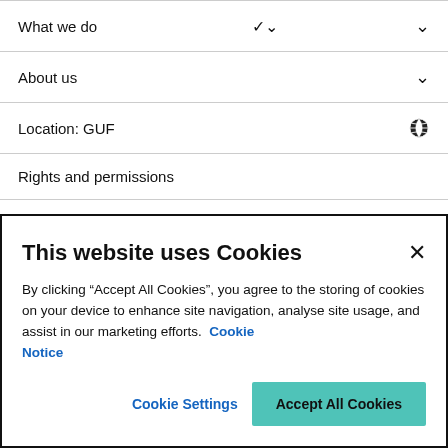What we do
About us
Location: GUF
Rights and permissions
Legal
Privacy
This website uses Cookies
By clicking “Accept All Cookies”, you agree to the storing of cookies on your device to enhance site navigation, analyse site usage, and assist in our marketing efforts. Cookie Notice
Cookie Settings
Accept All Cookies